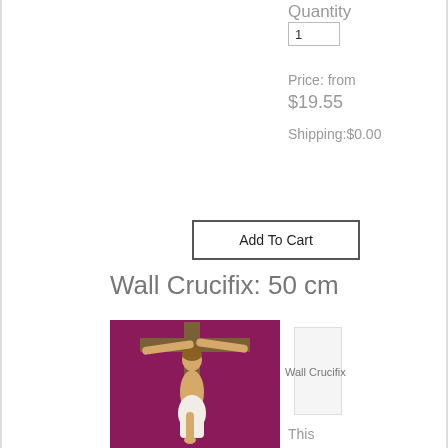Quantity
1
Price: from
$19.55
Shipping:$0.00
Add To Cart
Wall Crucifix: 50 cm
[Figure (photo): Photo of a wall crucifix with a white Jesus figure on a wooden cross against a magenta/dark pink background]
Wall Crucifix
This